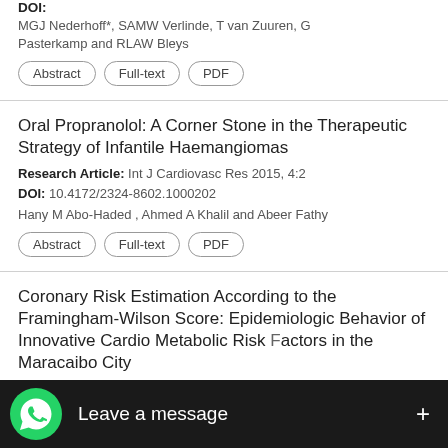DOI:
MGJ Nederhoff*, SAMW Verlinde, T van Zuuren, G Pasterkamp and RLAW Bleys
Abstract | Full-text | PDF
Oral Propranolol: A Corner Stone in the Therapeutic Strategy of Infantile Haemangiomas
Research Article: Int J Cardiovasc Res 2015, 4:2
DOI: 10.4172/2324-8602.1000202
Hany M Abo-Haded , Ahmed A Khalil and Abeer Fathy
Abstract | Full-text | PDF
Coronary Risk Estimation According to the Framingham-Wilson Score: Epidemiologic Behavior of Innovative Cardio Metabolic Risk Factors in the Maracaibo City
Research Article: Int J Cardiovasc Res 2013, 2:4
Valm... Salazar, Luis M Pell...